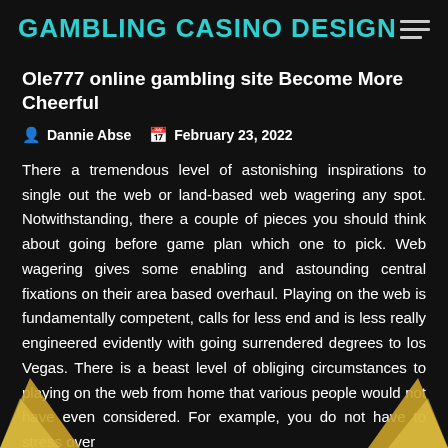GAMBLING CASINO DESIGN
Ole777 online gambling site Become More Cheerful
Dannie Abse   February 23, 2022
There a tremendous level of astonishing inspirations to single out the web or land-based web wagering any spot. Notwithstanding, there a couple of pieces you should think about going before game plan which one to pick. Web wagering gives some enabling and astounding central fixations on their area based overhaul. Playing on the web is fundamentally competent, calls for less end and is less really engineered evidently with going surrendered degrees to los Vegas. There is a beast level of obliging circumstances to playing on the web from home that various people would not have even considered. For example, you do not have to stress over